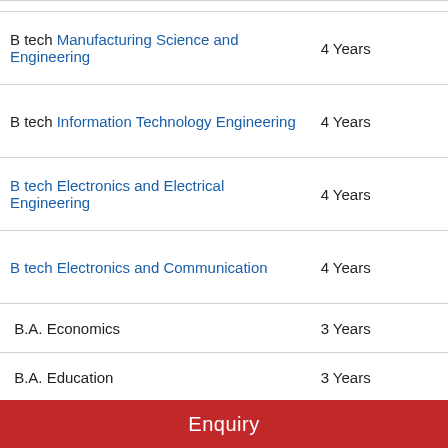| Course | Duration |
| --- | --- |
| B tech Manufacturing Science and Engineering | 4 Years |
| B tech Information Technology Engineering | 4 Years |
| B tech Electronics and Electrical Engineering | 4 Years |
| B tech Electronics and Communication | 4 Years |
| B.A. Economics | 3 Years |
| B.A. Education | 3 Years |
| B.A. English | 3 Years |
| B.A. History | 3 Years |
Enquiry